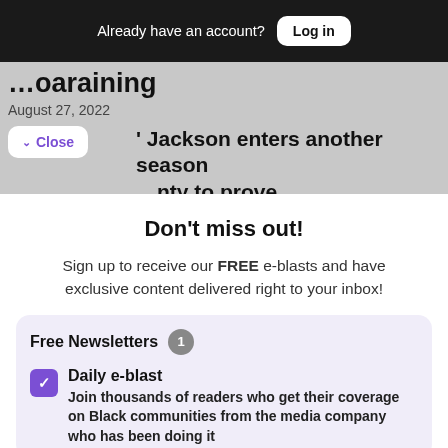Already have an account? Log in
…oaraining
August 27, 2022
' Jackson enters another season …nty to prove
Don't miss out!
Sign up to receive our FREE e-blasts and have exclusive content delivered right to your inbox!
Free Newsletters 1
Daily e-blast
Join thousands of readers who get their coverage on Black communities from the media company who has been doing it